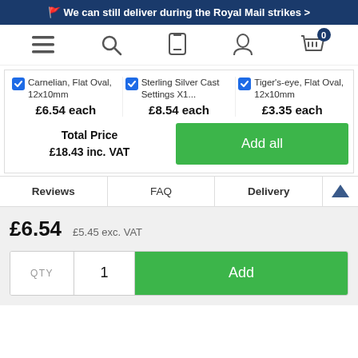🚩 We can still deliver during the Royal Mail strikes >
[Figure (screenshot): Navigation bar with hamburger menu, search, mobile, person, and basket (0) icons]
Carnelian, Flat Oval, 12x10mm £6.54 each | Sterling Silver Cast Settings X1... £8.54 each | Tiger's-eye, Flat Oval, 12x10mm £3.35 each
Total Price £18.43 inc. VAT
Add all
Reviews | FAQ | Delivery
£6.54
£5.45 exc. VAT
QTY  1  Add